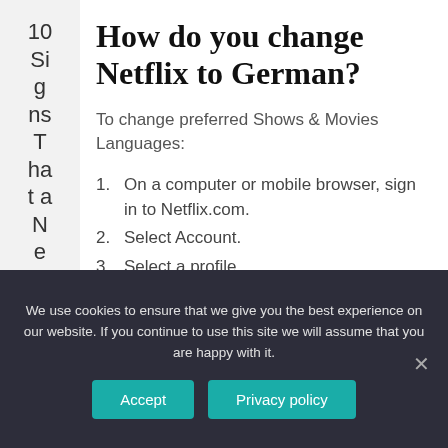10 Signs That a Newb
How do you change Netflix to German?
To change preferred Shows & Movies Languages:
1. On a computer or mobile browser, sign in to Netflix.com.
2. Select Account.
3. Select a profile.
4. Select Language.
We use cookies to ensure that we give you the best experience on our website. If you continue to use this site we will assume that you are happy with it.
Accept
Privacy policy